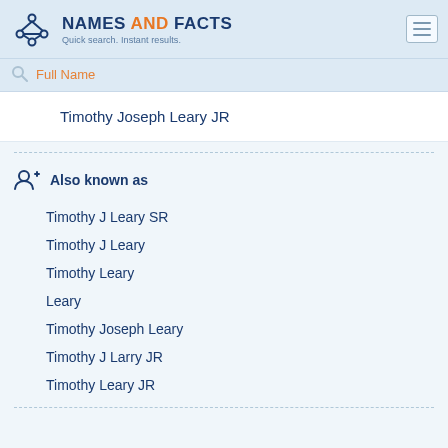NAMES AND FACTS — Quick search. Instant results.
Timothy Joseph Leary JR
Also known as
Timothy J Leary SR
Timothy J Leary
Timothy Leary
Leary
Timothy Joseph Leary
Timothy J Larry JR
Timothy Leary JR